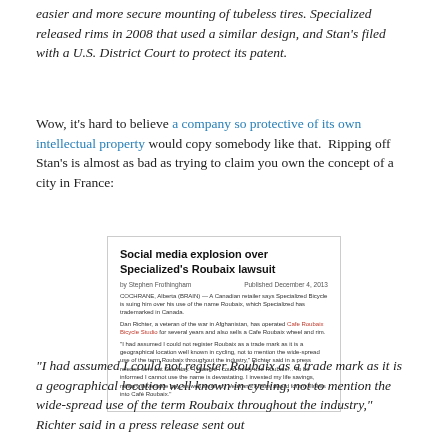easier and more secure mounting of tubeless tires. Specialized released rims in 2008 that used a similar design, and Stan's filed with a U.S. District Court to protect its patent.
Wow, it's hard to believe a company so protective of its own intellectual property would copy somebody like that. Ripping off Stan's is almost as bad as trying to claim you own the concept of a city in France:
[Figure (screenshot): Screenshot of a news article titled 'Social media explosion over Specialized's Roubaix lawsuit' by Stephen Frothingham, Published December 4, 2013. Article text discusses a Canadian retailer named Dan Richter being sued by Specialized Bicycle over use of the name Roubaix, which Specialized has trademarked in Canada.]
"I had assumed I could not register Roubaix as a trade mark as it is a geographical location well known in cycling, not to mention the wide-spread use of the term Roubaix throughout the industry," Richter said in a press release sent out